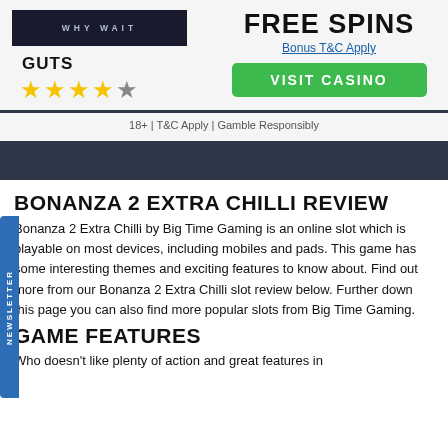[Figure (logo): GUTS casino logo banner with dark background and WHY WAIT text]
GUTS
[Figure (other): 4.5 star rating with yellow stars]
FREE SPINS
Bonus T&C Apply
VISIT CASINO
18+ | T&C Apply | Gamble Responsibly
BONANZA 2 EXTRA CHILLI REVIEW
Bonanza 2 Extra Chilli by Big Time Gaming is an online slot which is playable on most devices, including mobiles and pads. This game has some interesting themes and exciting features to know about. Find out more from our Bonanza 2 Extra Chilli slot review below. Further down this page you can also find more popular slots from Big Time Gaming.
GAME FEATURES
Who doesn't like plenty of action and great features in